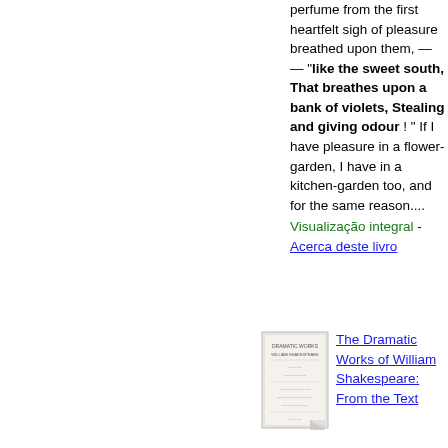perfume from the first heartfelt sigh of pleasure breathed upon them, — — " like the sweet south, That breathes upon a bank of violets, Stealing and giving odour ! " If I have pleasure in a flower-garden, I have in a kitchen-garden too, and for the same reason.... Visualização integral - Acerca deste livro
[Figure (illustration): Small thumbnail image of a book cover for 'The Dramatic Works of William Shakespeare']
The Dramatic Works of William Shakespeare: From the Text